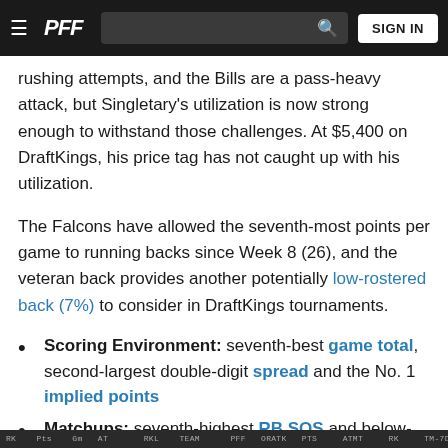PFF navigation bar with hamburger menu, PFF logo, search bar, and SIGN IN button
rushing attempts, and the Bills are a pass-heavy attack, but Singletary's utilization is now strong enough to withstand those challenges. At $5,400 on DraftKings, his price tag has not caught up with his utilization.
The Falcons have allowed the seventh-most points per game to running backs since Week 8 (26), and the veteran back provides another potentially low-rostered back (7%) to consider in DraftKings tournaments.
Scoring Environment: seventh-best game total, second-largest double-digit spread and the No. 1 implied points
Matchups: seventh-highest RB SOS and below-average OL RBA
Partial data table row visible at bottom